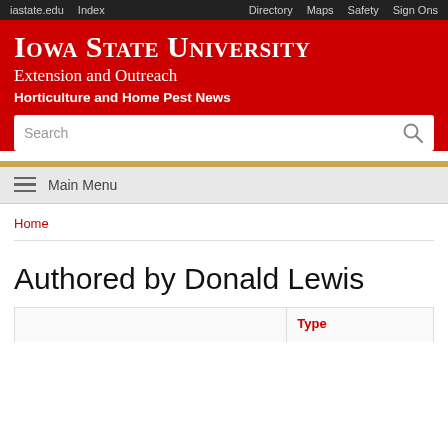iastate.edu   Index   Directory   Maps   Safety   Sign Ons
Iowa State University Extension and Outreach
Horticulture and Home Pest News
Search
Main Menu
Home
Authored by Donald Lewis
|  | Type |
| --- | --- |